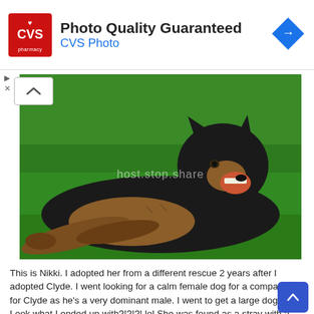[Figure (advertisement): CVS Pharmacy advertisement banner with red CVS logo on left, text 'Photo Quality Guaranteed' and 'CVS Photo' in blue, and a blue navigation arrow icon on the right]
[Figure (photo): A black and tan German Shepherd dog lying on green grass, mouth open, looking toward the camera. A semi-transparent watermark reading 'host.stop.share' is overlaid on the image.]
This is Nikki. I adopted her from a different rescue 2 years after I adopted Clyde. I went looking for a calm female dog for a companion for Clyde as he's a very dominant male. I went to get a large dog. Look what I ended up with?!?!?! lol She was found as a stray with a destroyed leg and had her leg amputated, then put up for adoption. She had been in the rescue for two months before I adopted her. I really struggled with adopting her because I wanted a large dog. But